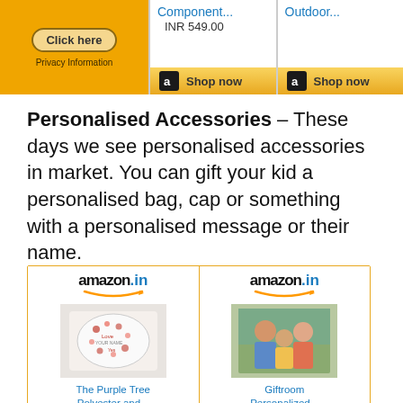[Figure (screenshot): Amazon ad banner with orange left panel containing 'Click here' button and 'Privacy Information' text, middle panel showing 'Component...' product link with 'INR 549.00' price and 'Shop now' button, right panel showing 'Outdoor...' product link with 'Shop now' button]
Personalised Accessories – These days we see personalised accessories in market. You can gift your kid a personalised bag, cap or something with a personalised message or their name.
[Figure (screenshot): Two Amazon.in product cards side by side. Left card shows a decorative pillow with heart design 'The Purple Tree Polyester and...'. Right card shows a family photo product 'Giftroom Personalized...']